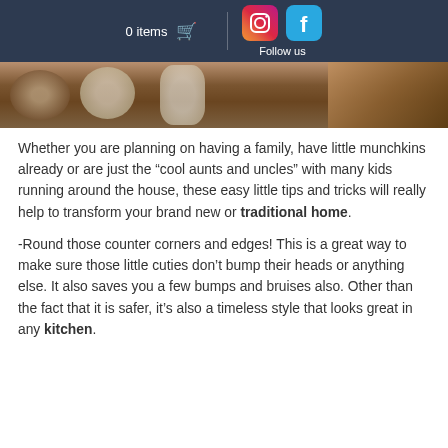0 items | Follow us
[Figure (photo): Partial view of a kitchen countertop with jars, utensils, and a wooden tray on a dark wood surface.]
Whether you are planning on having a family, have little munchkins already or are just the “cool aunts and uncles” with many kids running around the house, these easy little tips and tricks will really help to transform your brand new or traditional home.
-Round those counter corners and edges! This is a great way to make sure those little cuties don’t bump their heads or anything else. It also saves you a few bumps and bruises also. Other than the fact that it is safer, it’s also a timeless style that looks great in any kitchen.